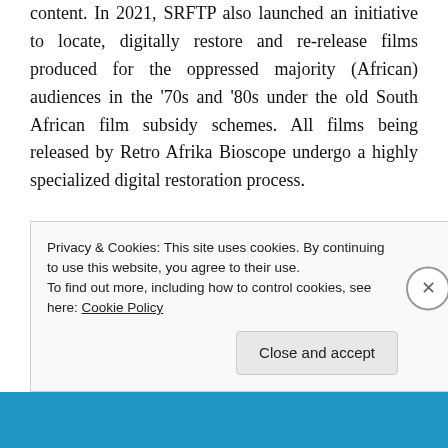content. In 2021, SRFTP also launched an initiative to locate, digitally restore and re-release films produced for the oppressed majority (African) audiences in the '70s and '80s under the old South African film subsidy schemes. All films being released by Retro Afrika Bioscope undergo a highly specialized digital restoration process.
The line-up of films for the month of July includes Abathumbi (Starring: Innocent Gumede and Khulekani Magubane), Zero for Zep (Starring: So Mhlanga and Khulekani Magubane), Umgulukudu (Starring: Roy
Privacy & Cookies: This site uses cookies. By continuing to use this website, you agree to their use.
To find out more, including how to control cookies, see here: Cookie Policy
Close and accept